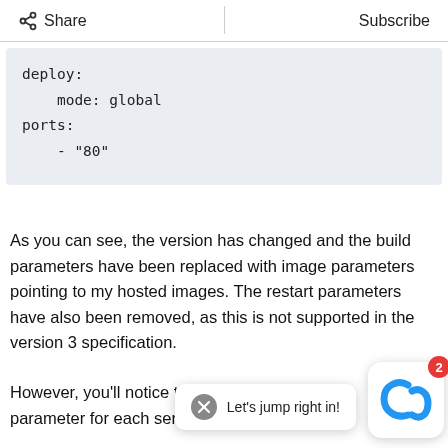Share  |  Subscribe
deploy:
    mode: global
ports:
    - "80"
As you can see, the version has changed and the build parameters have been replaced with image parameters pointing to my hosted images. The restart parameters have also been removed, as this is not supported in the version 3 specification.
However, you'll notice that there is a new parameter for each service: